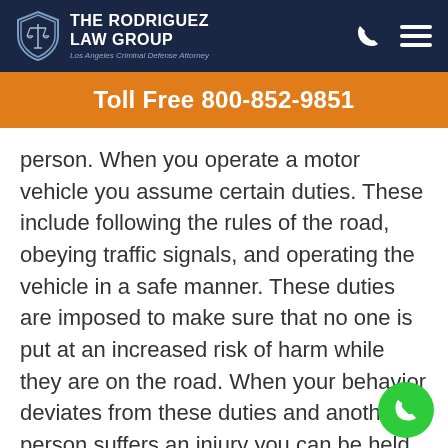[Figure (logo): The Rodriguez Law Group logo with shield icon and text 'THE RODRIGUEZ LAW GROUP Los Angeles Criminal Defense Attorney' on dark navy header, with phone and menu icons]
Toll Free 800-852-9851
person. When you operate a motor vehicle you assume certain duties. These include following the rules of the road, obeying traffic signals, and operating the vehicle in a safe manner. These duties are imposed to make sure that no one is put at an increased risk of harm while they are on the road. When your behavior deviates from these duties and another person suffers an injury you can be held both criminally and civilly responsible. In reality, something as simple taking your eyes off of the road to take a sip of